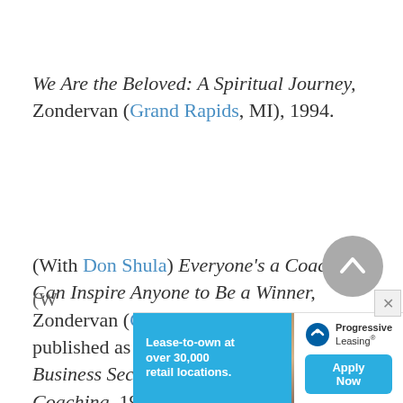We Are the Beloved: A Spiritual Journey, Zondervan (Grand Rapids, MI), 1994.
(With Don Shula) Everyone's a Coach: You Can Inspire Anyone to Be a Winner, Zondervan (Grand Rapids, MI), 1995, published as Everyone's a Coach: Five Business Secrets for High-Performance Coaching, 1996.
[Figure (other): Scroll-to-top button (circular grey button with upward chevron arrow)]
[Figure (infographic): Advertisement banner for Progressive Leasing: 'Lease-to-own at over 30,000 retail locations.' with Apply Now button and an image of a person.]